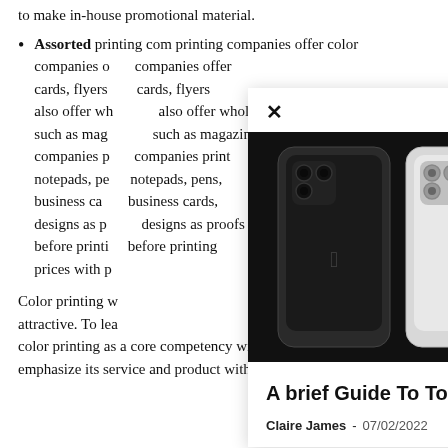to make in-house promotional material.
Assorted printing companies offer color printing services. companies offer cards, flyers also offer wholesale such as magazines. companies print notepads, pens, business cards, designs as proofs before printing prices with printing
Color printing will make things attractive. To learn more, color printing as a core competency will aid the business to emphasize its service and product without interruption. When a
[Figure (screenshot): MORE STORIES modal overlay showing a photo of five iPhone 13 Pro models in different colors (graphite, silver, gold, sierra blue, and a colorful wallpaper variant) and an article titled 'A brief Guide To Top Seven Specifications and Features of iPhone...' by Claire James dated 07/02/2022, with a comment count badge showing 0.]